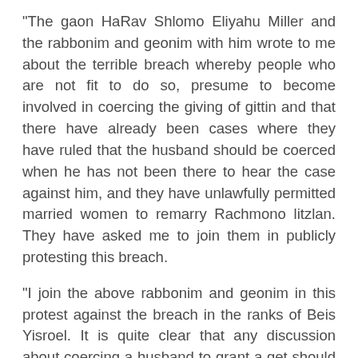"The gaon HaRav Shlomo Eliyahu Miller and the rabbonim and geonim with him wrote to me about the terrible breach whereby people who are not fit to do so, presume to become involved in coercing the giving of gittin and that there have already been cases where they have ruled that the husband should be coerced when he has not been there to hear the case against him, and they have unlawfully permitted married women to remarry Rachmono litzlan. They have asked me to join them in publicly protesting this breach.
"I join the above rabbonim and geonim in this protest against the breach in the ranks of Beis Yisroel. It is quite clear that any discussion about coercing a husband to grant a get should only be held in a beis din composed of rabbonim who are expert Torah scholars, that has an established reputation and whose authority the public accepts."
What has led to this uproar? Have matters in